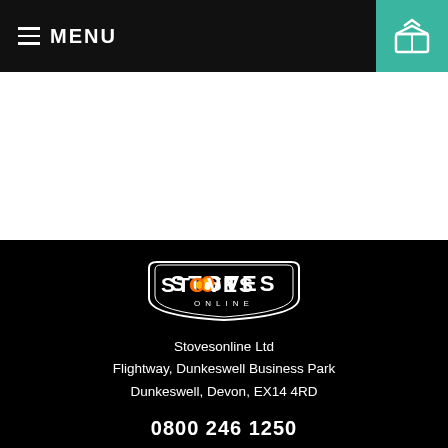MENU
[Figure (logo): Stoves Online logo with badge shape, flame icon replacing O in STOVES, white text on black background]
Stovesonline Ltd
Flightway, Dunkeswell Business Park
Dunkeswell, Devon, EX14 4RD
0800 246 1250
[Figure (other): Facebook and another social media icon in white circles]